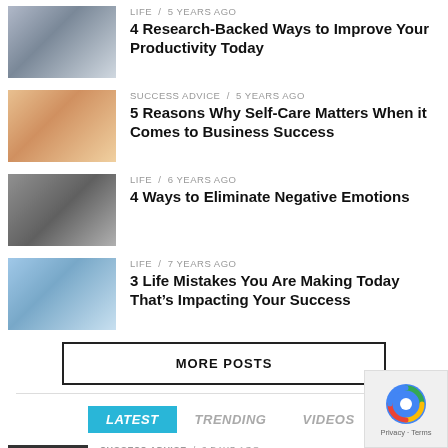LIFE / 5 years ago
4 Research-Backed Ways to Improve Your Productivity Today
SUCCESS ADVICE / 5 years ago
5 Reasons Why Self-Care Matters When it Comes to Business Success
LIFE / 6 years ago
4 Ways to Eliminate Negative Emotions
LIFE / 7 years ago
3 Life Mistakes You Are Making Today That's Impacting Your Success
MORE POSTS
LATEST   TRENDING   VIDEOS
SUCCESS ADVICE / 2 days ago
Privacy · Terms